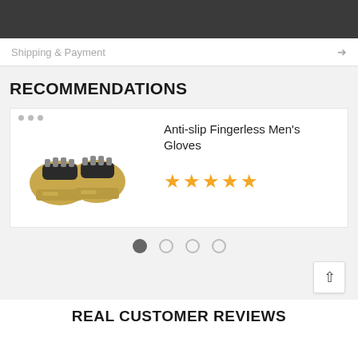Shipping & Payment
RECOMMENDATIONS
[Figure (photo): Yellow/tan fingerless tactical gloves shown as a pair, photographed on white background]
Anti-slip Fingerless Men's Gloves
★★★★★
REAL CUSTOMER REVIEWS